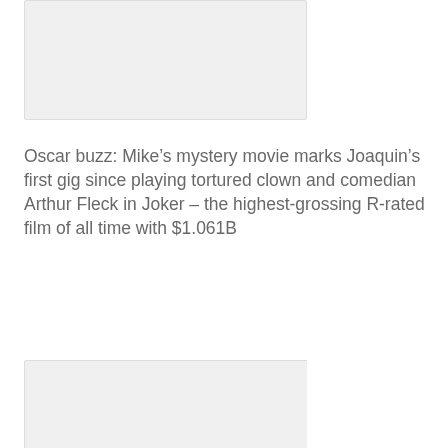[Figure (photo): Partial image placeholder at top of page (cropped, only bottom portion visible)]
Oscar buzz: Mike’s mystery movie marks Joaquin’s first gig since playing tortured clown and comedian Arthur Fleck in Joker – the highest-grossing R-rated film of all time with $1.061B
[Figure (photo): Second image placeholder, blank/light gray rectangle]
Who will win? Phoenix will next compete for the best actor in a motion picture drama trophy at the 77th Golden Globe Awards, which air January 5 on NBC
[Figure (photo): Third image placeholder, partially visible at bottom of page (cropped)]